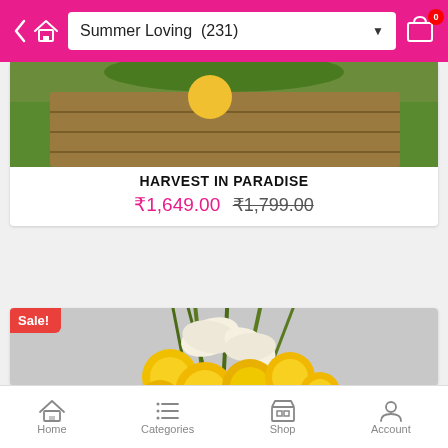Summer Loving (231)
[Figure (photo): Partial product image of Harvest in Paradise arrangement on wooden surface with greenery]
HARVEST IN PARADISE
₹1,649.00 ₹1,799.00
[Figure (photo): Flower bouquet with white lilies and yellow chrysanthemums on grey background, Sale badge in top left]
Home  Categories  Shop  Account